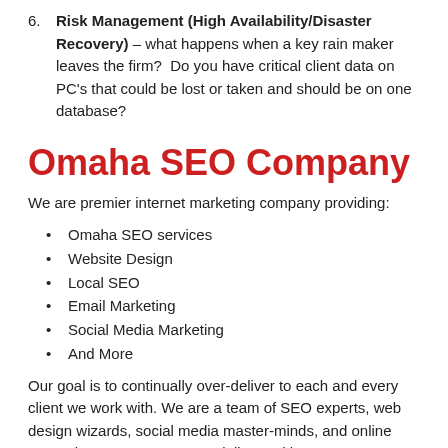6. Risk Management (High Availability/Disaster Recovery) – what happens when a key rain maker leaves the firm?  Do you have critical client data on PC's that could be lost or taken and should be on one database?
Omaha SEO Company
We are premier internet marketing company providing:
Omaha SEO services
Website Design
Local SEO
Email Marketing
Social Media Marketing
And More
Our goal is to continually over-deliver to each and every client we work with. We are a team of SEO experts, web design wizards, social media master-minds, and online reputation management specialists. With over 10 years